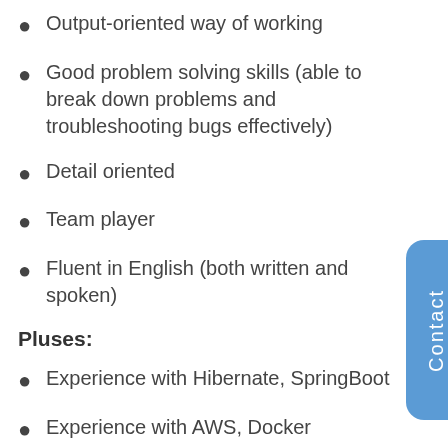Output-oriented way of working
Good problem solving skills (able to break down problems and troubleshooting bugs effectively)
Detail oriented
Team player
Fluent in English (both written and spoken)
Pluses:
Experience with Hibernate, SpringBoot
Experience with AWS, Docker